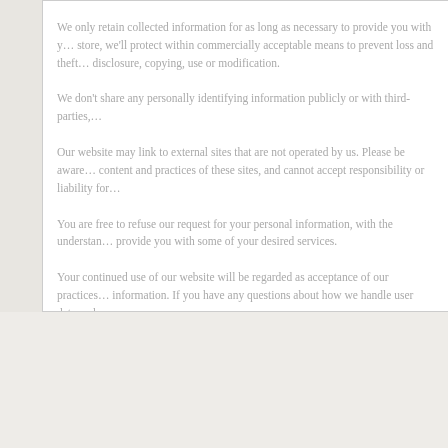We only retain collected information for as long as necessary to provide you with your requested service. What data we store, we'll protect within commercially acceptable means to prevent loss and theft, as well as unauthorised access, disclosure, copying, use or modification.
We don't share any personally identifying information publicly or with third-parties, except when required to by law.
Our website may link to external sites that are not operated by us. Please be aware that we have no control over the content and practices of these sites, and cannot accept responsibility or liability for their respective privacy policies.
You are free to refuse our request for your personal information, with the understanding that we may be unable to provide you with some of your desired services.
Your continued use of our website will be regarded as acceptance of our practices around privacy and personal information. If you have any questions about how we handle user data and personal information.